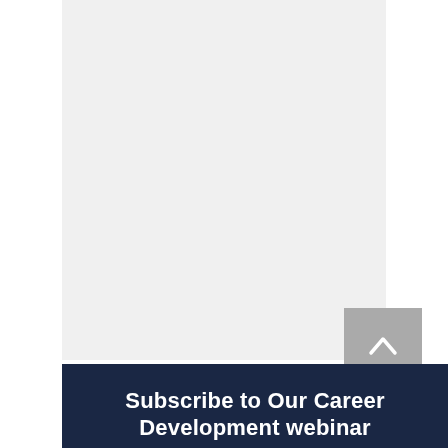[Figure (screenshot): Light gray content area representing a webpage body with a back-to-top arrow button (gray square with white chevron up arrow) in the lower right corner]
Subscribe to Our Career Development webinar